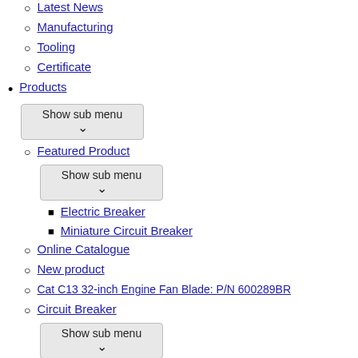Latest News
Manufacturing
Tooling
Certificate
Products
Featured Product
Electric Breaker
Miniature Circuit Breaker
Online Catalogue
New product
Cat C13 32-inch Engine Fan Blade: P/N 600289BR
Circuit Breaker
Miniature Circuit Breaker
Moulded Case Circuit Breaker
NS Moulded Case Circuit Breaker
Residual Current Circuit Breaker